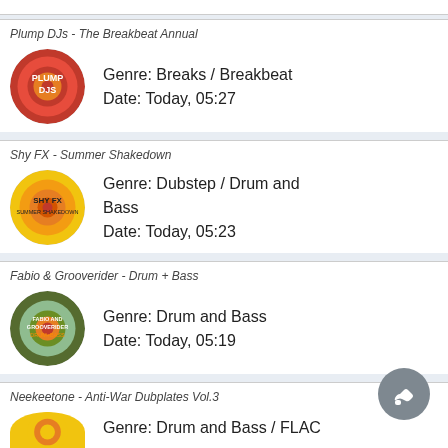[Figure (illustration): Partial album art thumbnail at top of page]
Plump DJs - The Breakbeat Annual
Genre: Breaks / Breakbeat
Date: Today, 05:27
Shy FX - Summer Shakedown
Genre: Dubstep / Drum and Bass
Date: Today, 05:23
Fabio & Grooverider - Drum + Bass
Genre: Drum and Bass
Date: Today, 05:19
Neekeetone - Anti-War Dubplates Vol.3
Genre: Drum and Bass / FLAC